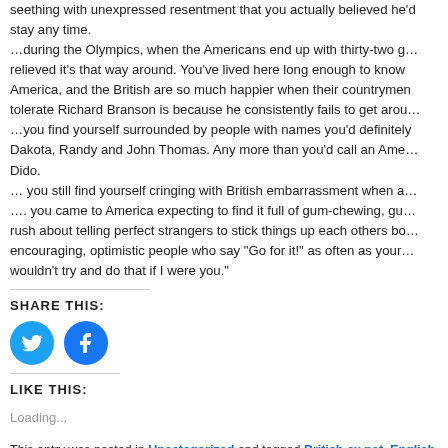seething with unexpressed resentment that you actually believed he'd stay any time.
…during the Olympics, when the Americans end up with thirty-two g… relieved it's that way around. You've lived here long enough to know America, and the British are so much happier when their countrymen tolerate Richard Branson is because he consistently fails to get arou…
…you find yourself surrounded by people with names you'd definitely Dakota, Randy and John Thomas. Any more than you'd call an Ame… Dido.
… you still find yourself cringing with British embarrassment when a…
…. you came to America expecting to find it full of gum-chewing, gu… rush about telling perfect strangers to stick things up each others bo… encouraging, optimistic people who say "Go for it!" as often as your… wouldn't try and do that if I were you."
SHARE THIS:
[Figure (illustration): Twitter bird icon circle button (blue)]
[Figure (illustration): Facebook f icon circle button (blue)]
LIKE THIS:
Loading...
This entry was posted in Uncategorized and tagged British ex pat, English A…